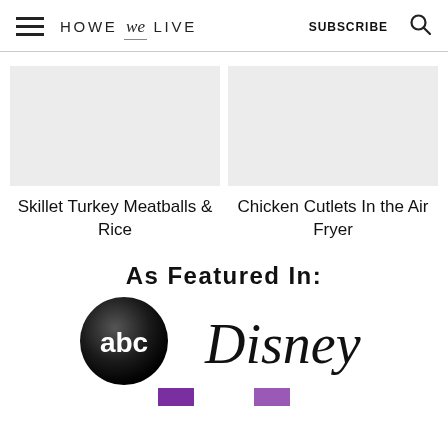HOWE we LIVE  SUBSCRIBE
Skillet Turkey Meatballs & Rice
Chicken Cutlets In the Air Fryer
As Featured In:
[Figure (logo): ABC network circular logo, black sphere with 'abc' in white letters]
[Figure (logo): Disney logo in cursive script, black text]